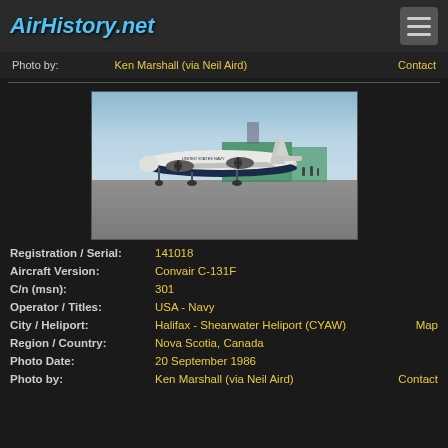AirHistory.net
Photo by: Ken Marshall (via Neil Aird)  Contact
[Figure (photo): A Convair C-131F aircraft with United States Navy markings parked on a tarmac, with airport buildings visible in the background. The aircraft is white on top and dark blue on the bottom. Photo taken at Halifax - Shearwater Heliport, 20 September 1986.]
| Registration / Serial: | 141018 |  |
| Aircraft Version: | Convair C-131F |  |
| C/n (msn): | 301 |  |
| Operator / Titles: | USA - Navy |  |
| City / Heliport: | Halifax - Shearwater Heliport (CYAW) | Map |
| Region / Country: | Nova Scotia, Canada |  |
| Photo Date: | 20 September 1986 |  |
| Photo by: | Ken Marshall (via Neil Aird) | Contact |